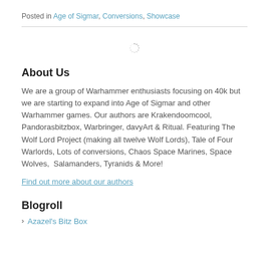Posted in Age of Sigmar, Conversions, Showcase
[Figure (other): Loading spinner / circular progress indicator]
About Us
We are a group of Warhammer enthusiasts focusing on 40k but we are starting to expand into Age of Sigmar and other Warhammer games. Our authors are Krakendoomcool, Pandorasbitzbox, Warbringer, davyArt & Ritual. Featuring The Wolf Lord Project (making all twelve Wolf Lords), Tale of Four Warlords, Lots of conversions, Chaos Space Marines, Space Wolves, Salamanders, Tyranids & More!
Find out more about our authors
Blogroll
Azazel's Bitz Box